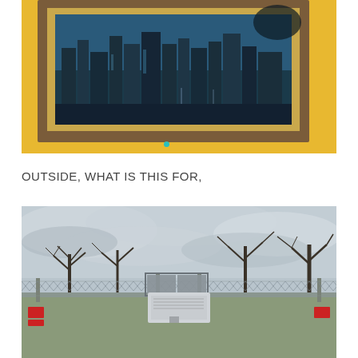[Figure (photo): A framed painting or print of a city skyline hanging on a yellow wall. The frame is brown/wood-toned with gold inner border. The painting shows tall skyscrapers against a dark blue-teal background. A small teal dot is visible on the yellow wall below the frame.]
OUTSIDE, WHAT IS THIS FOR,
[Figure (photo): Outdoor photo showing a cloudy grey sky with bare leafless trees behind a chain-link fence with sliding gate. Inside the fenced area is a white metal utility box or generator unit. Red warning signs are visible on the fence posts at left and right.]